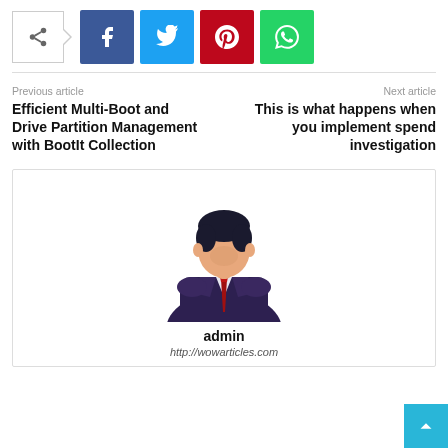[Figure (infographic): Social share bar with share icon box and social media buttons: Facebook (blue), Twitter (cyan), Pinterest (red), WhatsApp (green)]
Previous article
Next article
Efficient Multi-Boot and Drive Partition Management with BootIt Collection
This is what happens when you implement spend investigation
[Figure (illustration): Generic admin user avatar: a faceless man in dark suit with red tie]
admin
http://wowarticles.com